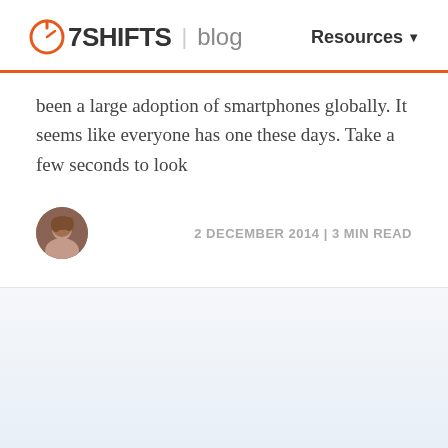7SHIFTS | blog    Resources
been a large adoption of smartphones globally. It seems like everyone has one these days. Take a few seconds to look
2 DECEMBER 2014 | 3 MIN READ
[Figure (photo): Author avatar circular photo of a woman with brown hair]
[Figure (screenshot): Light blue/grey content area below the article metadata row]